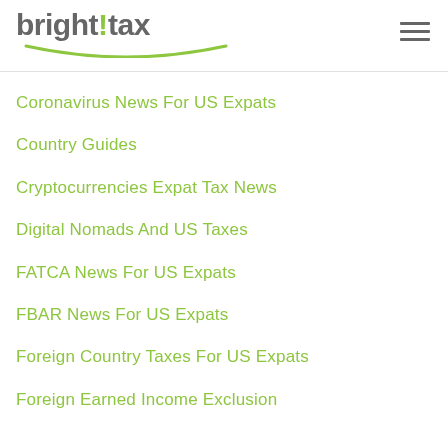bright!tax
Coronavirus News For US Expats
Country Guides
Cryptocurrencies Expat Tax News
Digital Nomads And US Taxes
FATCA News For US Expats
FBAR News For US Expats
Foreign Country Taxes For US Expats
Foreign Earned Income Exclusion